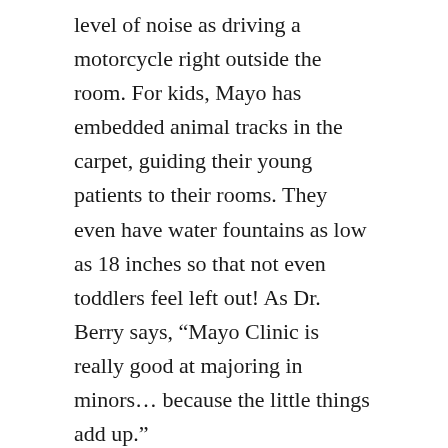level of noise as driving a motorcycle right outside the room. For kids, Mayo has embedded animal tracks in the carpet, guiding their young patients to their rooms. They even have water fountains as low as 18 inches so that not even toddlers feel left out! As Dr. Berry says, “Mayo Clinic is really good at majoring in minors… because the little things add up.”
Whether there is a public health crisis that shakes the world or a personal health crisis that shakes your world, the Mayo Clinic will always be a symbol of hope. The compassionate culture ingrained in Mayo has created a hospital where employees want to finish the job rather than look at the clock. Stories of exceptional gentleness by Mayo employees are numerous, and each one shows